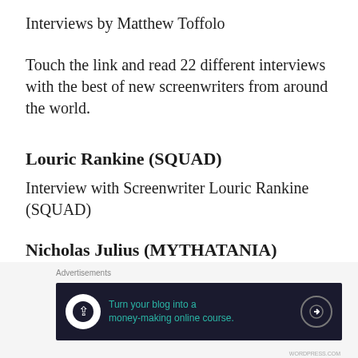Interviews by Matthew Toffolo
Touch the link and read 22 different interviews with the best of new screenwriters from around the world.
Louric Rankine (SQUAD)
Interview with Screenwriter Louric Rankine (SQUAD)
Nicholas Julius (MYTHATANIA)
Interview with Screenwriter Nicholas Julius (MYTHATANIA)
[Figure (infographic): Advertisement banner: 'Turn your blog into a money-making online course.' with arrow button on dark background, preceded by 'Advertisements' label]